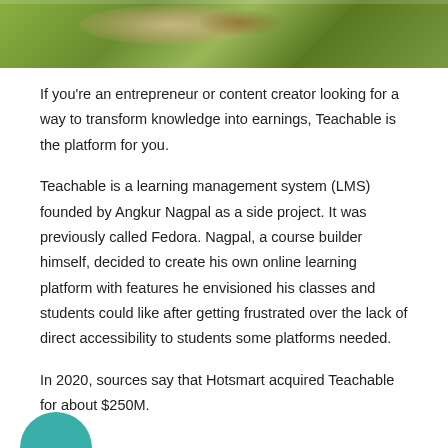[Figure (photo): Top portion of a photo showing a person lying on grass with a floral patterned item, outdoors]
If you're an entrepreneur or content creator looking for a way to transform knowledge into earnings, Teachable is the platform for you.
Teachable is a learning management system (LMS) founded by Angkur Nagpal as a side project. It was previously called Fedora. Nagpal, a course builder himself, decided to create his own online learning platform with features he envisioned his classes and students could like after getting frustrated over the lack of direct accessibility to students some platforms needed.
In 2020, sources say that Hotsmart acquired Teachable for about $250M.
[Figure (photo): Partial circular avatar/profile image in teal color at bottom of page]